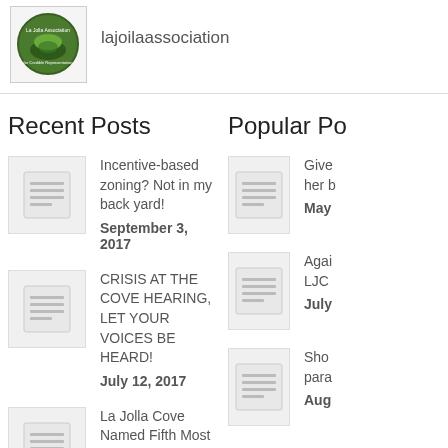[Figure (logo): La Jolla Association circular green logo]
lajoilaassociation
Recent Posts
Popular Po...
[Figure (illustration): Document thumbnail icon]
Incentive-based zoning? Not in my back yard!
September 3, 2017
[Figure (illustration): Document thumbnail icon]
Give... her b... May...
[Figure (illustration): Document thumbnail icon]
CRISIS AT THE COVE HEARING, LET YOUR VOICES BE HEARD!
July 12, 2017
[Figure (illustration): Document thumbnail icon]
Agai... LJC... July...
[Figure (illustration): Document thumbnail icon]
La Jolla Cove Named Fifth Most Bacteria-Ridden Beach In State
July 5, 2017
[Figure (illustration): Document thumbnail icon]
Sho... para... Aug...